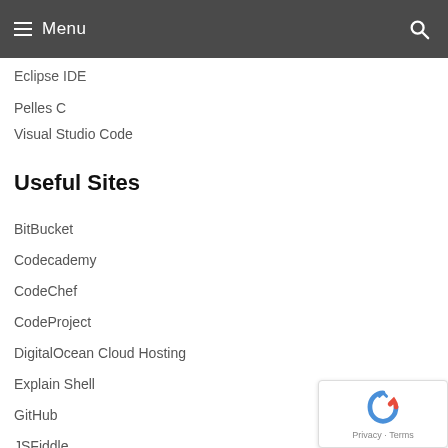Menu
Eclipse IDE
Pelles C
Visual Studio Code
Useful Sites
BitBucket
Codecademy
CodeChef
CodeProject
DigitalOcean Cloud Hosting
Explain Shell
GitHub
JSFiddle
OWASP
PHP Manual